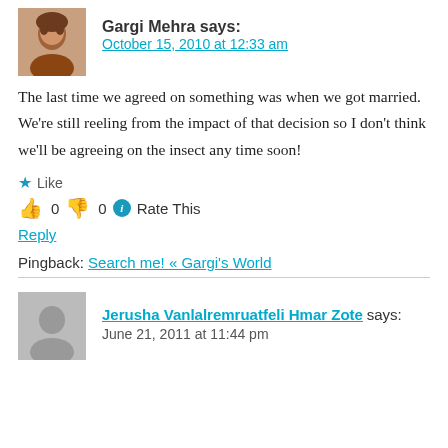Gargi Mehra says:
October 15, 2010 at 12:33 am
The last time we agreed on something was when we got married. We’re still reeling from the impact of that decision so I don’t think we’ll be agreeing on the insect any time soon!
★ Like
👍 0 👎 0 ⓘ Rate This
Reply
Pingback: Search me! « Gargi’s World
Jerusha Vanlalremruatfeli Hmar Zote says:
June 21, 2011 at 11:44 pm